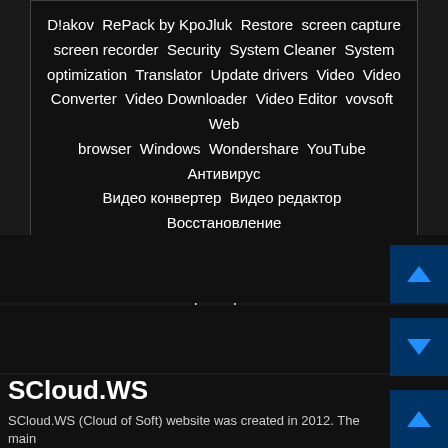[Figure (other): Tag cloud on dark background showing software categories in English and Russian: D!akov, RePack by KpoJluk, Restore, screen capture, screen recorder, Security, System Cleaner, System optimization, Translator, Update drivers, Video, Video Converter, Video Downloader, Video Editor, vovsoft, Web browser, Windows, Wondershare, YouTube, Антивирус, Видео конвертер, Видео редактор, Восстановление, Восстановление данных, Конвертер, Оптимизация системы, Очистка реестра, Очистка системы, Плеер, Редактор, Редактор фотографий]
SCloud.WS
SCloud.WS (Cloud of Soft) website was created in 2012. The main